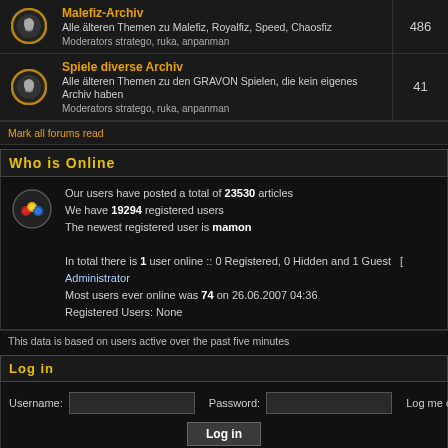Malefiz-Archiv — Alle älteren Themen zu Malefiz, Royalfiz, Speed, Chaosfiz — Moderators stratego, ruka, anpanman — 486
Spiele diverse Archiv — Alle älteren Themen zu den GRAVON Spielen, die kein eigenes Archiv haben — Moderators stratego, ruka, anpanman — 41
Mark all forums read
Who is Online
Our users have posted a total of 23530 articles
We have 19294 registered users
The newest registered user is mamon

In total there is 1 user online :: 0 Registered, 0 Hidden and 1 Guest   [ Administrator
Most users ever online was 74 on 26.06.2007 04:36
Registered Users: None
This data is based on users active over the past five minutes
Log in
Username:   Password:   Log me on automa
New posts   No new posts   Forum is locked
Powered by phpBB © 2001, 2002 phpBB Group